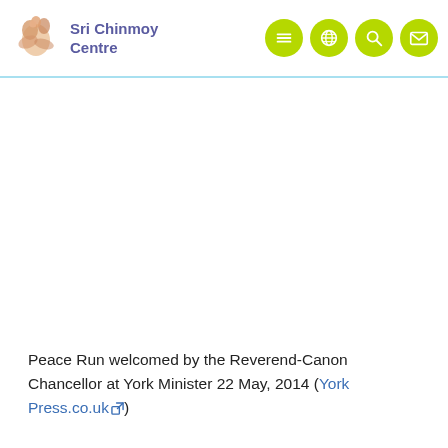Sri Chinmoy Centre
[Figure (photo): Large white/blank image area below the header, likely a photograph of the Peace Run event at York Minster]
Peace Run welcomed by the Reverend-Canon Chancellor at York Minister 22 May, 2014 (York Press.co.uk)